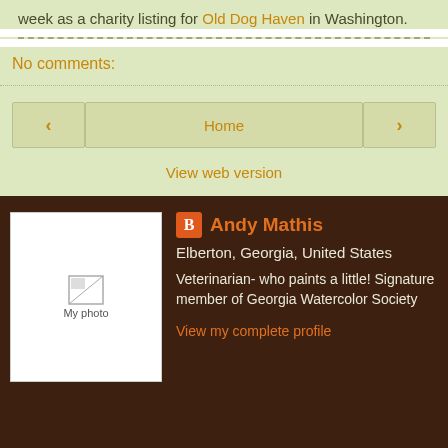week as a charity listing for Old Dog Haven in Washington.
No comments:
Home
View web version
[Figure (photo): Blogger profile photo placeholder labeled 'My photo']
Andy Mathis
Elberton, Georgia, United States
Veterinarian- who paints a little! Signature member of Georgia Watercolor Society
View my complete profile